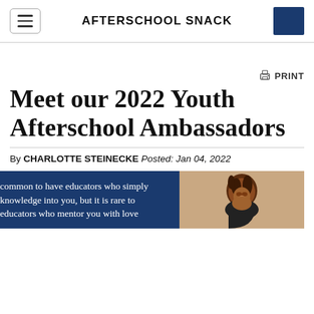AFTERSCHOOL SNACK
Meet our 2022 Youth Afterschool Ambassadors
By CHARLOTTE STEINECKE Posted: Jan 04, 2022
common to have educators who simply knowledge into you, but it is rare to educators who mentor you with love
[Figure (photo): Photo of a smiling woman with curly hair against a light background]